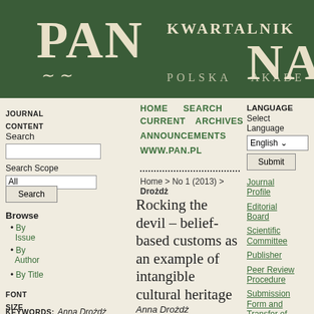[Figure (logo): PAN journal header banner with dark green background showing PAN logo on the left and KWARTALNIK NA... text on the right with POLSKA AKADE subtitle]
JOURNAL CONTENT
Search
Search Scope
All
Search
Browse
By Issue
By Author
By Title
FONT SIZE
KEYWORDS:
Anna Drożdż
HOME   SEARCH   CURRENT   ARCHIVES   ANNOUNCEMENTS   WWW.PAN.PL
LANGUAGE
Select Language
English
Submit
Home > No 1 (2013) > Drożdż
Rocking the devil – belief-based customs as an example of intangible cultural heritage
Journal Profile
Editorial Board
Scientific Committee
Publisher
Peer Review Procedure
Submission Form and Transfer of Rights